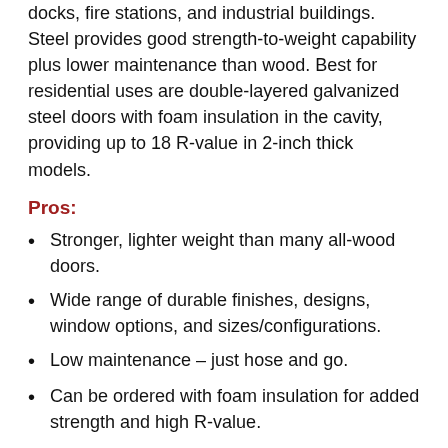docks, fire stations, and industrial buildings. Steel provides good strength-to-weight capability plus lower maintenance than wood. Best for residential uses are double-layered galvanized steel doors with foam insulation in the cavity, providing up to 18 R-value in 2-inch thick models.
Pros:
Stronger, lighter weight than many all-wood doors.
Wide range of durable finishes, designs, window options, and sizes/configurations.
Low maintenance – just hose and go.
Can be ordered with foam insulation for added strength and high R-value.
Generally longest warranties.
Climates: all
Cons:
Moderate resistance to dents. TIP: Ask for heavier gauge steel such as used in Raynor Aspen™ Series.